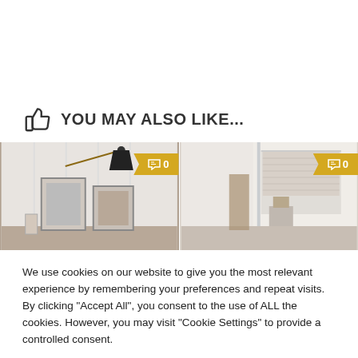YOU MAY ALSO LIKE...
[Figure (photo): Two interior design photos side by side with comment badges showing '0']
We use cookies on our website to give you the most relevant experience by remembering your preferences and repeat visits. By clicking “Accept All”, you consent to the use of ALL the cookies. However, you may visit “Cookie Settings” to provide a controlled consent.
Cookie Settings  Accept All